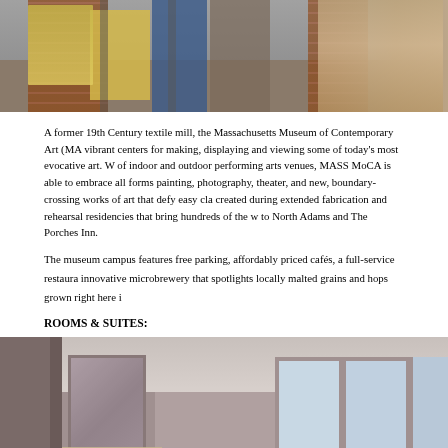[Figure (photo): A woman in a navy jacket and plaid scarf stands in front of a brick building with banners, likely MASS MoCA exterior]
A former 19th Century textile mill, the Massachusetts Museum of Contemporary Art (MA vibrant centers for making, displaying and viewing some of today's most evocative art. W of indoor and outdoor performing arts venues, MASS MoCA is able to embrace all forms painting, photography, theater, and new, boundary-crossing works of art that defy easy cla created during extended fabrication and rehearsal residencies that bring hundreds of the w to North Adams and The Porches Inn.
The museum campus features free parking, affordably priced cafés, a full-service restaura innovative microbrewery that spotlights locally malted grains and hops grown right here i
ROOMS & SUITES:
[Figure (photo): Interior of a hotel room at The Porches Inn, showing walls with decorative plates, a mirror, windows with curtains, and warm lighting]